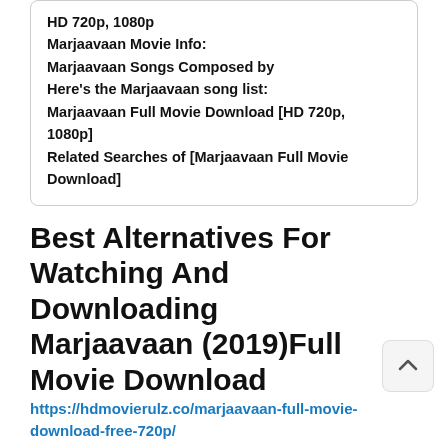HD 720p, 1080p
Marjaavaan Movie Info:
Marjaavaan Songs Composed by
Here's the Marjaavaan song list:
Marjaavaan Full Movie Download [HD 720p, 1080p]
Related Searches of [Marjaavaan Full Movie Download]
Best Alternatives For Watching And Downloading Marjaavaan (2019)Full Movie Download
https://hdmovierulz.co/marjaavaan-full-movie-download-free-720p/